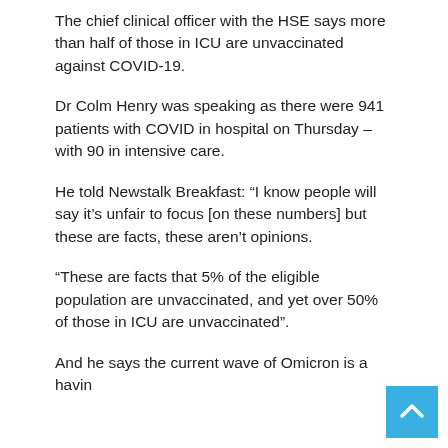The chief clinical officer with the HSE says more than half of those in ICU are unvaccinated against COVID-19.
Dr Colm Henry was speaking as there were 941 patients with COVID in hospital on Thursday – with 90 in intensive care.
He told Newstalk Breakfast: “I know people will say it’s unfair to focus [on these numbers] but these are facts, these aren’t opinions.
“These are facts that 5% of the eligible population are unvaccinated, and yet over 50% of those in ICU are unvaccinated”.
And he says the current wave of Omicron is a having a major impact on hospital staffing levels.